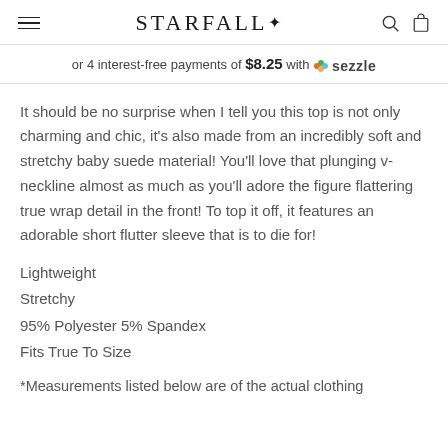STARFALL
or 4 interest-free payments of $8.25 with Sezzle
It should be no surprise when I tell you this top is not only charming and chic, it's also made from an incredibly soft and stretchy baby suede material! You'll love that plunging v-neckline almost as much as you'll adore the figure flattering true wrap detail in the front! To top it off, it features an adorable short flutter sleeve that is to die for!
Lightweight
Stretchy
95% Polyester 5% Spandex
Fits True To Size
*Measurements listed below are of the actual clothing